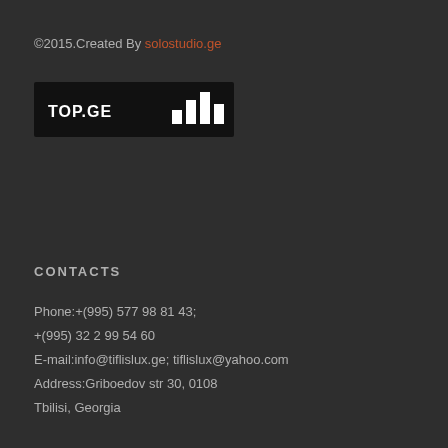©2015.Created By solostudio.ge
[Figure (logo): TOP.GE website traffic/rating badge with bar chart icon on black background]
CONTACTS
Phone:+(995) 577 98 81 43;
+(995) 32 2 99 54 60
E-mail:info@tiflislux.ge; tiflislux@yahoo.com
Address:Griboedov str 30, 0108
Tbilisi, Georgia